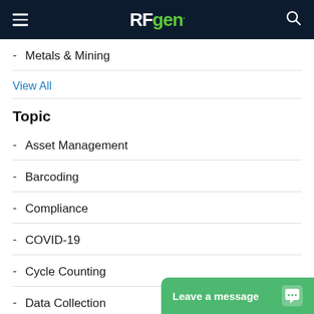RFgen
Metals & Mining
View All
Topic
Asset Management
Barcoding
Compliance
COVID-19
Cycle Counting
Data Collection
Digital Transf…